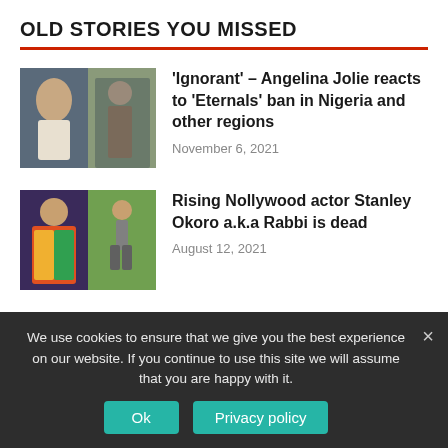OLD STORIES YOU MISSED
'Ignorant' – Angelina Jolie reacts to 'Eternals' ban in Nigeria and other regions
November 6, 2021
Rising Nollywood actor Stanley Okoro a.k.a Rabbi is dead
August 12, 2021
Woman gifted a furnished apartment sells everything in it to…
We use cookies to ensure that we give you the best experience on our website. If you continue to use this site we will assume that you are happy with it.